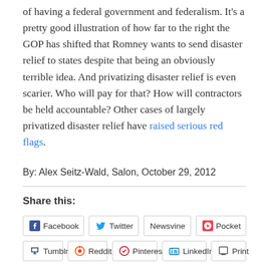of having a federal government and federalism. It's a pretty good illustration of how far to the right the GOP has shifted that Romney wants to send disaster relief to states despite that being an obviously terrible idea. And privatizing disaster relief is even scarier. Who will pay for that? How will contractors be held accountable? Other cases of largely privatized disaster relief have raised serious red flags.
By: Alex Seitz-Wald, Salon, October 29, 2012
Share this:
Facebook  Twitter  Newsvine  Pocket  Tumblr  Reddit  Pinterest  LinkedIn  Print